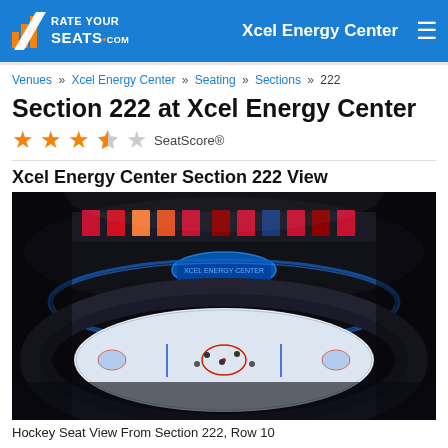RateYourSeats.com — Xcel Energy Center
Venues » Xcel Energy Center » Seating » Sections » 222
Section 222 at Xcel Energy Center
★★★½☆ SeatScore®
Xcel Energy Center Section 222 View
[Figure (photo): Hockey rink aerial view from Section 222, Row 10 at Xcel Energy Center during a game, showing the ice surface, players, scoreboard, and colorful NHL team banners hanging from the rafters.]
Hockey Seat View From Section 222, Row 10